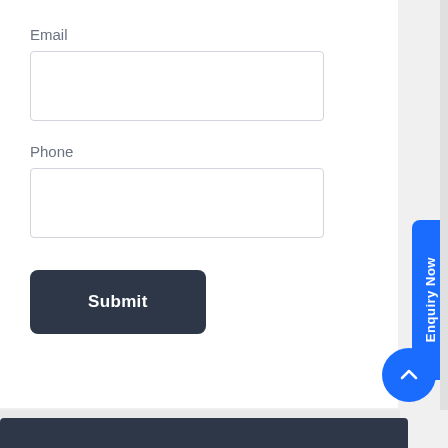Email
[Figure (other): Empty email input text field with light gray border]
Phone
[Figure (other): Empty phone input text field with light gray border]
[Figure (other): Dark navy Submit button with white text]
[Figure (other): Blue vertical Enquiry Now tab button on right side]
[Figure (other): Blue circular scroll-to-top button with upward chevron]